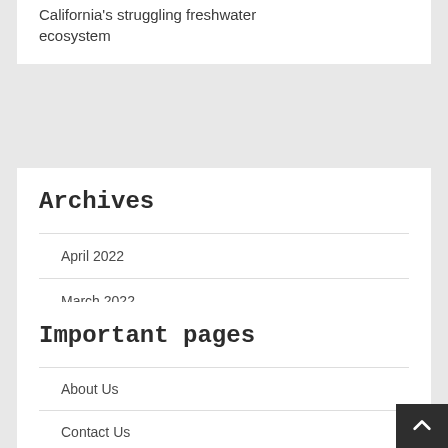California's struggling freshwater ecosystem
Archives
April 2022
March 2022
Important pages
About Us
Contact Us
DMCA